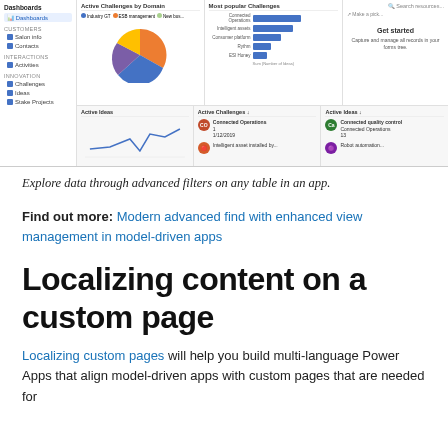[Figure (screenshot): Screenshot of a model-driven app dashboard showing sidebar navigation, a pie chart labeled 'Active Challenges by Domain', a bar chart labeled 'Most popular Challenges', a 'Get started' pane, bottom panels showing 'Active Ideas', 'Active Challenges', and 'Active Ideas' list views with challenge items.]
Explore data through advanced filters on any table in an app.
Find out more: Modern advanced find with enhanced view management in model-driven apps
Localizing content on a custom page
Localizing custom pages will help you build multi-language Power Apps that align model-driven apps with custom pages that are needed for